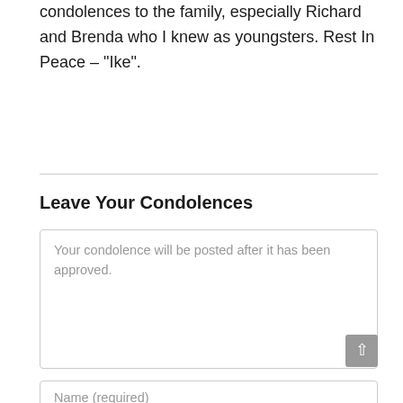condolences to the family, especially Richard and Brenda who I knew as youngsters. Rest In Peace – "Ike".
Leave Your Condolences
Your condolence will be posted after it has been approved.
Name (required)
Email (required)